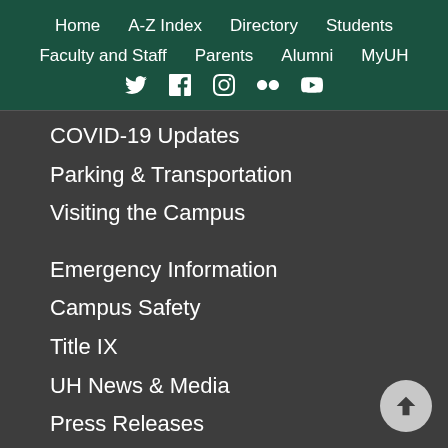Home | A-Z Index | Directory | Students | Faculty and Staff | Parents | Alumni | MyUH
COVID-19 Updates
Parking & Transportation
Visiting the Campus
Emergency Information
Campus Safety
Title IX
UH News & Media
Press Releases
Events
Work at UH